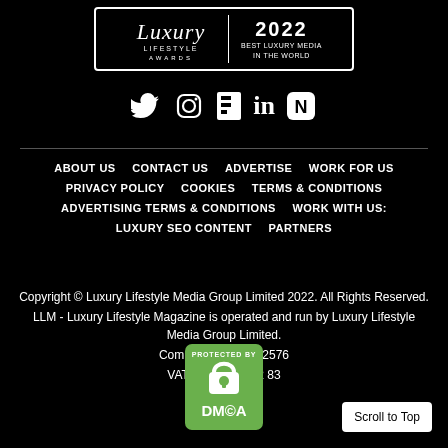[Figure (logo): Luxury Lifestyle Awards 2022 badge - Best Luxury Media In The World, white border rectangle with script logo and year]
[Figure (infographic): Social media icons row: Twitter bird, Instagram camera, Flipboard F, LinkedIn 'in', Apple News N - all white on black]
ABOUT US    CONTACT US    ADVERTISE    WORK FOR US    PRIVACY POLICY    COOKIES    TERMS & CONDITIONS    ADVERTISING TERMS & CONDITIONS    WORK WITH US:    LUXURY SEO CONTENT    PARTNERS
Copyright © Luxury Lifestyle Media Group Limited 2022. All Rights Reserved.
LLM - Luxury Lifestyle Magazine is operated and run by Luxury Lifestyle Media Group Limited.
Company No. 11072576
VAT No. 353 9092 83
[Figure (logo): DMCA Protected By green badge with padlock icon]
Scroll to Top